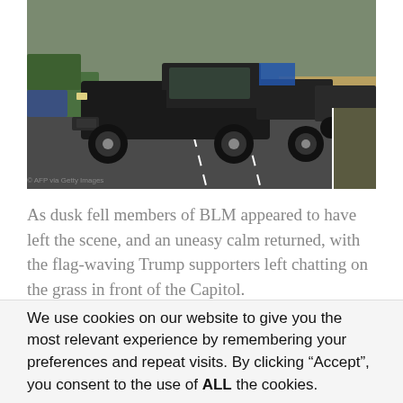[Figure (photo): A large black lifted pickup truck with aftermarket decals driving on a road, with other vehicles visible in the background. Green trees and dry grass fields line the roadway.]
© AFP via Getty Images
As dusk fell members of BLM appeared to have left the scene, and an uneasy calm returned, with the flag-waving Trump supporters left chatting on the grass in front of the Capitol.
We use cookies on our website to give you the most relevant experience by remembering your preferences and repeat visits. By clicking “Accept”, you consent to the use of ALL the cookies.